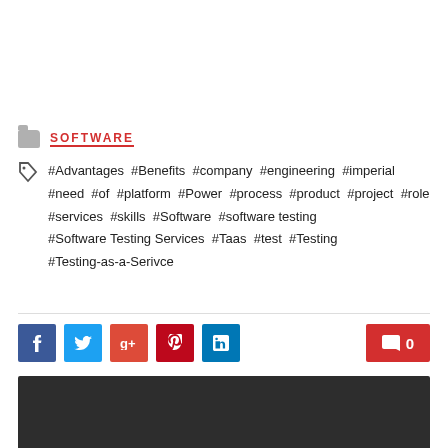SOFTWARE
#Advantages #Benefits #company #engineering #imperial #need #of #platform #Power #process #product #project #role #services #skills #Software #software testing #Software Testing Services #Taas #test #Testing #Testing-as-a-Serivce
[Figure (other): Social share buttons: Facebook, Twitter, Google+, Pinterest, LinkedIn, and a comment count button showing 0]
[Figure (other): Dark grey/charcoal block at bottom of page]